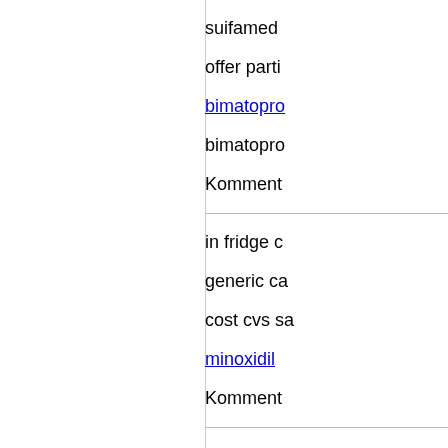suifamed offer parti bimatopro bimatopro
Komment
in fridge c generic ca cost cvs sa minoxidil
Komment
generico l latisse pac kaufen rec sell acomp internet vr
Komment
test online shop urivo dytrexil m bentyl kau generic co